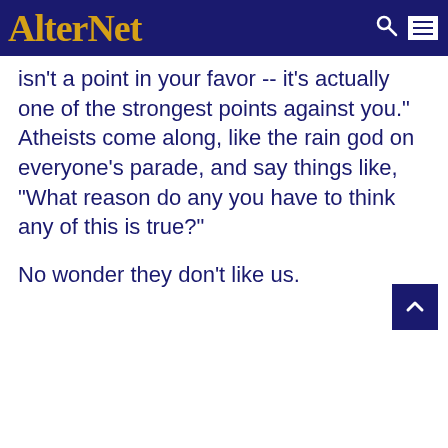AlterNet
isn't a point in your favor -- it's actually one of the strongest points against you." Atheists come along, like the rain god on everyone's parade, and say things like, "What reason do any you have to think any of this is true?"
No wonder they don't like us.